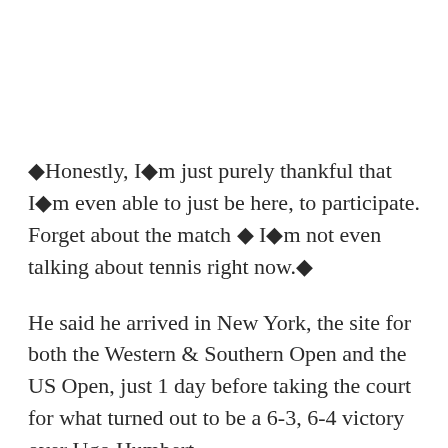❖Honestly, I❖m just purely thankful that I❖m even able to just be here, to participate. Forget about the match ❖ I❖m not even talking about tennis right now.❖
He said he arrived in New York, the site for both the Western & Southern Open and the US Open, just 1 day before taking the court for what turned out to be a 6-3, 6-4 victory over Ugo Humbert.
The women❖s draw saw some big names exit on Day 2 at the hard-court tournament: No. 1 seed Karolina